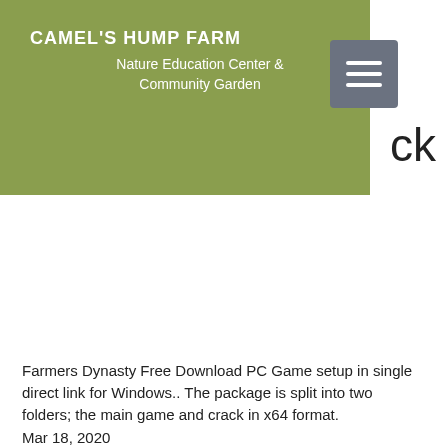CAMEL'S HUMP FARM
Nature Education Center &
Community Garden
Farmers Dynasty Free Download PC Game setup in single direct link for Windows.. The package is split into two folders; the main game and crack in x64 format.
Mar 18, 2020
Farmers Dynasty Free Download Full Version PC Game Setup In Single Direct Link For Windows (Full Cracked); Full Version Free Download; Full Version; Free Download;
Mar 18, 2020
Requirements: Windows 7 (SP1); Intel Core i5 (2.5 GHz); 8 GB RAM; NVIDIA GeForce GTX 470; DVD drive.